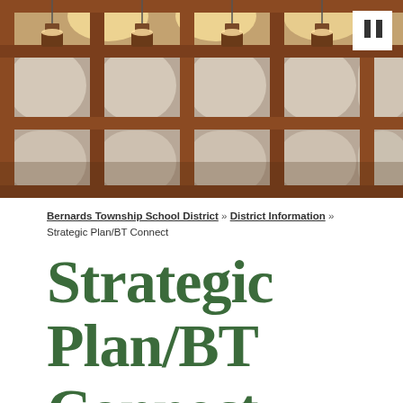[Figure (photo): Interior architectural photo showing wooden lattice/grid framework with arched fabric or paper panels behind it, warm overhead lighting visible through the wooden structure, reddish-brown wood tones with cream-colored panels.]
Bernards Township School District » District Information » Strategic Plan/BT Connect
Strategic Plan/BT Connect